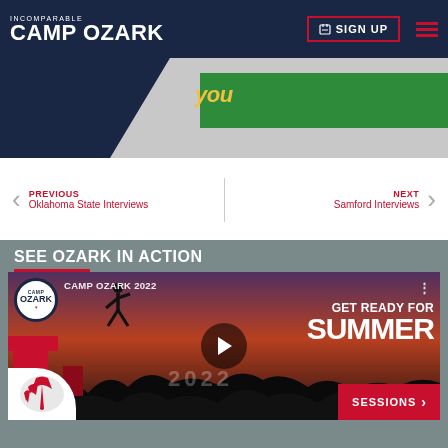INCOMPARABLE CAMP OZARK | SIGN UP
[Figure (screenshot): Camp Ozark website header with dark navy background, logo top-left reading INCOMPARABLE / CAMP OZARK, green hero banner in background, SIGN UP button top-right with red hamburger menu]
PREVIOUS
Oklahoma State Interviews
NEXT
Samford Interviews
SEE OZARK IN ACTION
[Figure (screenshot): Camp Ozark 2022 YouTube video thumbnail showing a person jumping at sunset with GET READY FOR SUMMER text and play button overlay. Camp Ozark logo in top left. Silhouetted trees at bottom.]